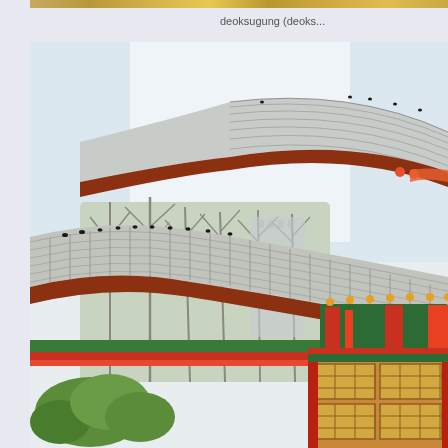deoksugung (deoks...
[Figure (photo): Close-up photograph of a traditional Korean palace building (Deoksugung), showing colorful dancheong painted eaves and roof tiles with characteristic curved Korean architectural style. Birds are perched on the lower roof tiles. Background shows bare winter trees and a glimpse of city buildings. The building structure features red wooden pillars and latticed windows with green and red decorative painting patterns.]